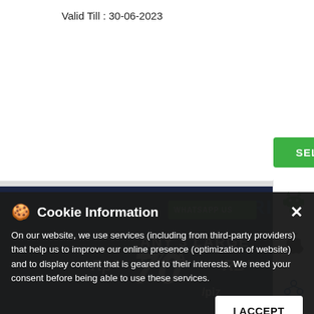Valid Till : 30-06-2023
[Figure (screenshot): Green SELECT button with arrow]
[Figure (screenshot): Right sidebar with Android, Apple, and social icons]
[Figure (screenshot): PAPILTRIO pizza promotion banner showing ANY 3 LARGE PIZZA Rp 70 RB* /piz with WHATSAPP US button]
Cookie Information
On our website, we use services (including from third-party providers) that help us to improve our online presence (optimization of website) and to display content that is geared to their interests. We need your consent before being able to use these services.
I ACCEPT